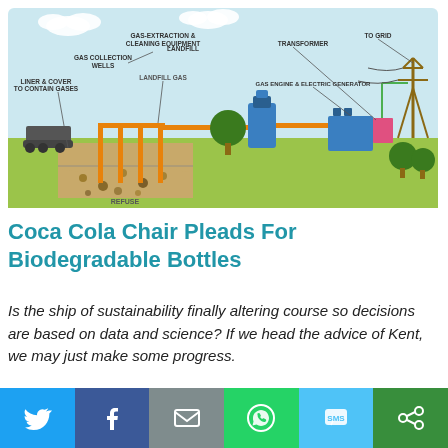[Figure (infographic): Landfill gas to energy infographic showing: bulldozer pushing waste into landfill with liner and cover to contain gases, gas collection wells, landfill gas, gas-extraction and cleaning equipment (blue tank), gas engine and electric generator (blue building and pink box), transformer, and power grid tower. Process flows left to right with orange pipeline connecting components.]
Coca Cola Chair Pleads For Biodegradable Bottles
Is the ship of sustainability finally altering course so decisions are based on data and science? If we head the advice of Kent, we may just make some progress.
The 2018 Future Smarts Conference brought forth some eye-
[Figure (infographic): Social share bar with six buttons: Twitter (blue), Facebook (dark blue), Email (gray), WhatsApp (green), SMS (blue-green), and another share option (dark green).]